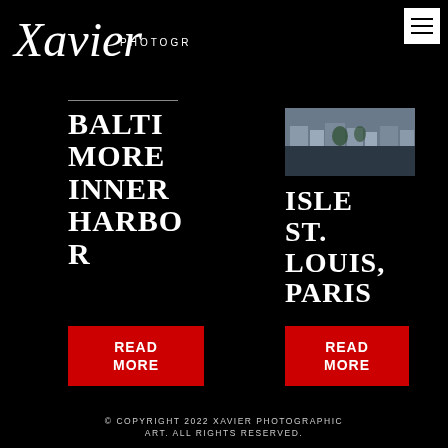Xavier PHOTOGRAPHIC ART
[Figure (logo): Xavier cursive script logo with 'PHOTOGRAPHIC ART' text and hamburger menu button]
BALTIMORE INNER HARBOR
READ MORE
[Figure (photo): Small thumbnail photograph of Isle St. Louis, Paris showing waterfront buildings]
ISLE ST. LOUIS, PARIS
READ MORE
© COPYRIGHT 2022 XAVIER PHOTOGRAPHIC ART. ALL RIGHTS RESERVED.